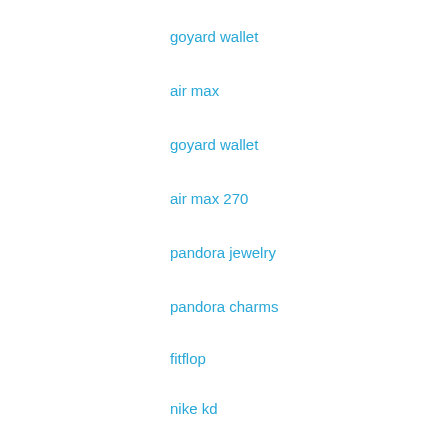goyard wallet
air max
goyard wallet
air max 270
pandora jewelry
pandora charms
fitflop
nike kd
adidas yeezy
adidas eqt support